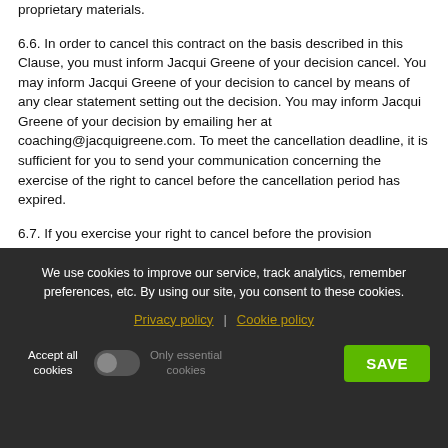proprietary materials.
6.6. In order to cancel this contract on the basis described in this Clause, you must inform Jacqui Greene of your decision cancel. You may inform Jacqui Greene of your decision to cancel by means of any clear statement setting out the decision. You may inform Jacqui Greene of your decision by emailing her at coaching@jacquigreene.com. To meet the cancellation deadline, it is sufficient for you to send your communication concerning the exercise of the right to cancel before the cancellation period has expired.
6.7. If you exercise your right to cancel before the provision
We use cookies to improve our service, track analytics, remember preferences, etc. By using our site, you consent to these cookies.
Privacy policy | Cookie policy
Accept all cookies | Only essential cookies | SAVE